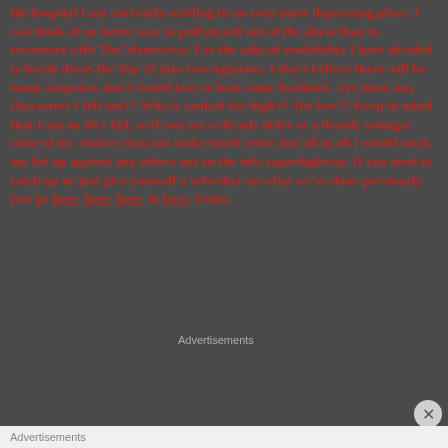the hospital I am currently residing in an even more depressing place. I can think of no better way to pull myself out of the abyss than to reconnect with The Manoverse. For the sake of readability I have decided to break down the Top 25 into two segments. I don't believe there will be many surprises, but I would love to hear some feedback. Are there any characters I left out?? Who is ranked too high?? Too low?? Keep in mind that I am an 80's kid, so if you are a decade older or a decade younger some of my choices may not make much sense, but all in all I would stack my list up against any others out on the info superhighway. If you need to catch up or just give yourself a refresher on what we've done previously just go here, here, here, & here. Enjoy.
[Figure (other): Jetpack advertisement banner with green background and Jetpack logo]
Advertisements